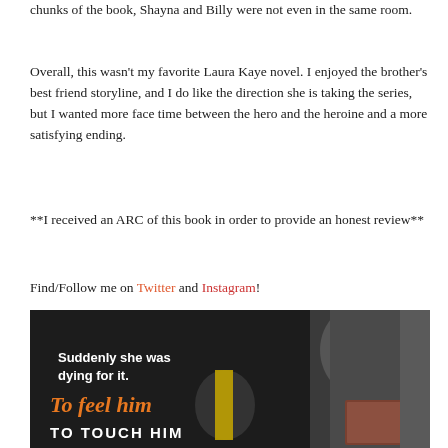chunks of the book, Shayna and Billy were not even in the same room.
Overall, this wasn't my favorite Laura Kaye novel. I enjoyed the brother's best friend storyline, and I do like the direction she is taking the series, but I wanted more face time between the hero and the heroine and a more satisfying ending.
**I received an ARC of this book in order to provide an honest review**
Find/Follow me on Twitter and Instagram!
[Figure (photo): Book promotional image with dark background, showing a man's torso holding a tie. White text reads 'Suddenly she was dying for it.' Orange italic text reads 'To feel him' and partially visible text 'TO TOUCH HIM'. A small intimate photo is in the bottom right corner.]